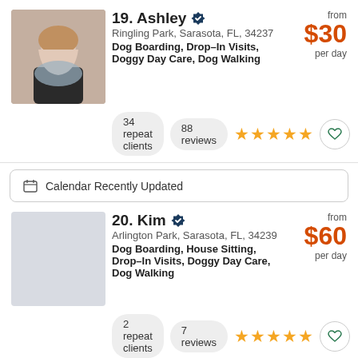19. Ashley — Ringling Park, Sarasota, FL, 34237. Dog Boarding, Drop-In Visits, Doggy Day Care, Dog Walking. from $30 per day. 34 repeat clients. 88 reviews. 5 stars.
Calendar Recently Updated
20. Kim — Arlington Park, Sarasota, FL, 34239. Dog Boarding, House Sitting, Drop-In Visits, Doggy Day Care, Dog Walking. from $60 per day. 2 repeat clients. 7 reviews. 5 stars.
Rover > Florida > S... > Doggy Day Care
Rover also offers Doggy Day Care